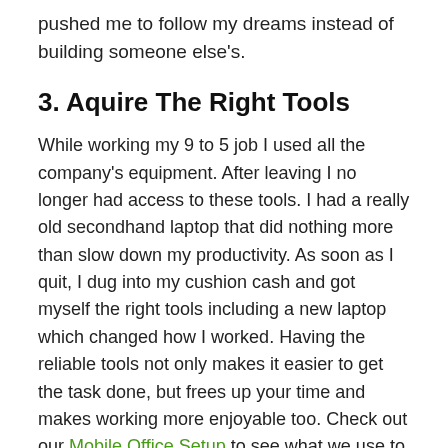pushed me to follow my dreams instead of building someone else's.
3. Aquire The Right Tools
While working my 9 to 5 job I used all the company's equipment. After leaving I no longer had access to these tools. I had a really old secondhand laptop that did nothing more than slow down my productivity. As soon as I quit, I dug into my cushion cash and got myself the right tools including a new laptop which changed how I worked. Having the reliable tools not only makes it easier to get the task done, but frees up your time and makes working more enjoyable too. Check out our Mobile Office Setup to see what we use to